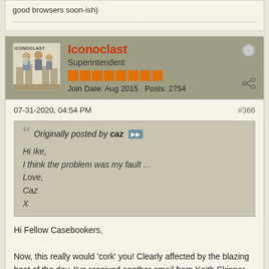good browsers soon-ish)
Iconoclast
Superintendent
Join Date: Aug 2015   Posts: 2754
07-31-2020, 04:54 PM
#366
Originally posted by caz
Hi Ike,
I think the problem was my fault ...
Love,
Caz
X
Hi Fellow Casebookers,

Now, this really would 'cork' you! Clearly affected by the blazing heat of the day, I've received another email from Keith Skinner - concerned no doubt that he'll go to bed one night soon with The Switchblade's shadow protruding from that streetlamp outside his bedroom window - to the effect that he takes full responsibility for the error according...